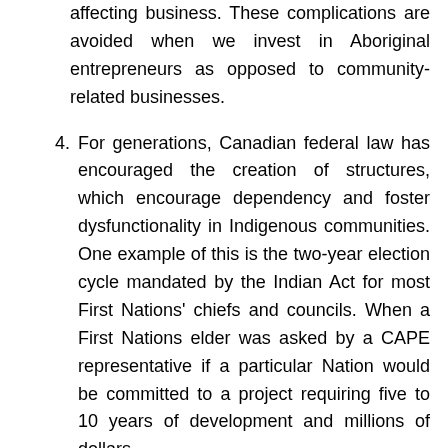affecting business. These complications are avoided when we invest in Aboriginal entrepreneurs as opposed to community-related businesses.
4. For generations, Canadian federal law has encouraged the creation of structures, which encourage dependency and foster dysfunctionality in Indigenous communities. One example of this is the two-year election cycle mandated by the Indian Act for most First Nations' chiefs and councils. When a First Nations elder was asked by a CAPE representative if a particular Nation would be committed to a project requiring five to 10 years of development and millions of dollars